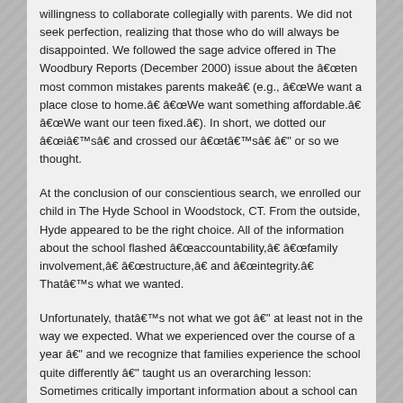willingness to collaborate collegially with parents. We did not seek perfection, realizing that those who do will always be disappointed. We followed the sage advice offered in The Woodbury Reports (December 2000) issue about the “ten most common mistakes parents make” (e.g., “We want a place close to home.” “We want something affordable.” “We want our teen fixed.”). In short, we dotted our “ei’s” and crossed our “t’s” — or so we thought.
At the conclusion of our conscientious search, we enrolled our child in The Hyde School in Woodstock, CT. From the outside, Hyde appeared to be the right choice. All of the information about the school flashed “accountability,” “family involvement,” “structure,” and “integrity.” That’s what we wanted.
Unfortunately, that’s not what we got — at least not in the way we expected. What we experienced over the course of a year — and we recognize that families experience the school quite differently — taught us an overarching lesson: Sometimes critically important information about a school can be known only from the inside, particularly from parents and